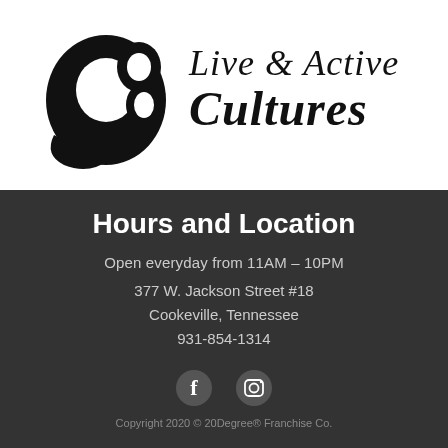[Figure (logo): 20 Degree Live & Active Cultures logo — stylized '20' emblem on the left, text 'Live & Active Cultures' on the right in bold italic serif font]
Hours and Location
Open everyday from 11AM – 10PM
377 W. Jackson Street #18
Cookeville, Tennessee
931-854-1314
[Figure (illustration): Social media icons: Facebook (f) and Instagram (camera) in white circles]
Copyright 2020 © 20Degree® Franchise Co.